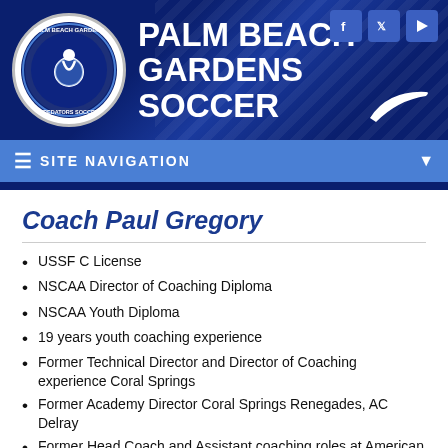[Figure (logo): Palm Beach Gardens Predators Soccer club logo — circular badge with soccer player and ball, navy and white colors]
PALM BEACH GARDENS SOCCER
SITE NAVIGATION
Coach Paul Gregory
USSF C License
NSCAA Director of Coaching Diploma
NSCAA Youth Diploma
19 years youth coaching experience
Former Technical Director and Director of Coaching experience Coral Springs
Former Academy Director Coral Springs Renegades, AC Delray
Former Head Coach and Assistant coaching roles at American Heritage School of Delray